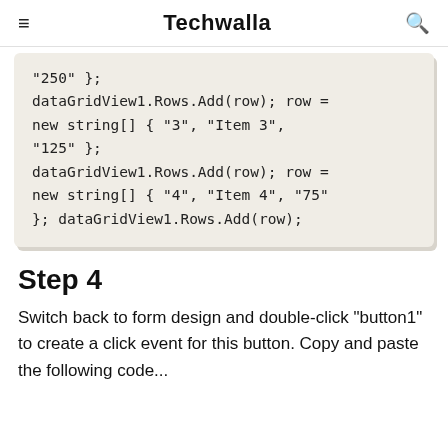Techwalla
"250" };
    dataGridView1.Rows.Add(row); row =
    new string[] { "3", "Item 3",
    "125" };
    dataGridView1.Rows.Add(row); row =
    new string[] { "4", "Item 4", "75"
    }; dataGridView1.Rows.Add(row);
Step 4
Switch back to form design and double-click "button1" to create a click event for this button. Copy and paste the following code...